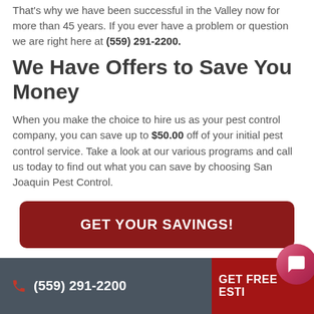That's why we have been successful in the Valley now for more than 45 years. If you ever have a problem or question we are right here at (559) 291-2200.
We Have Offers to Save You Money
When you make the choice to hire us as your pest control company, you can save up to $50.00 off of your initial pest control service. Take a look at our various programs and call us today to find out what you can save by choosing San Joaquin Pest Control.
GET YOUR SAVINGS!
Serving Customers In
(559) 291-2200   GET FREE ESTI...